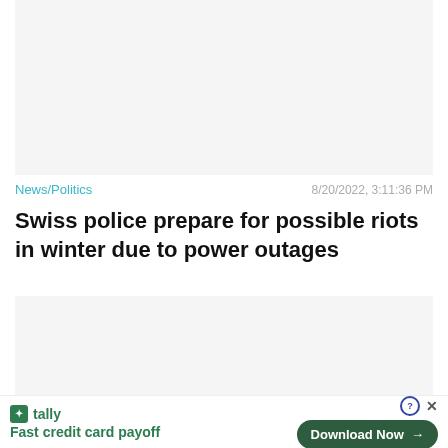[Figure (other): Advertisement banner placeholder (gray background)]
News/Politics
8/20/2022, 3:11:36 PM
Swiss police prepare for possible riots in winter due to power outages
[Figure (other): Advertisement banner placeholder (gray background) with Close X button]
tally
Fast credit card payoff
Download Now →